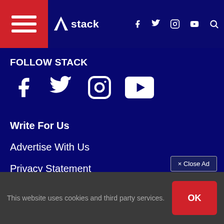Stack — navigation bar with hamburger menu, Stack logo, social icons (f, twitter, instagram, youtube), search
FOLLOW STACK
[Figure (infographic): Social media icons row: Facebook, Twitter, Instagram, YouTube]
Write For Us
Advertise With Us
Privacy Statement
Terms of Service
Children's Privacy Policy
× Close Ad
This website uses cookies and third party services.
OK